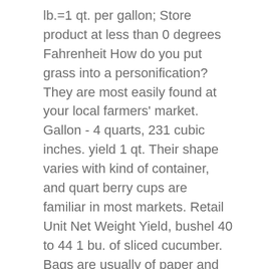lb.=1 qt. per gallon; Store product at less than 0 degrees Fahrenheit How do you put grass into a personification? They are most easily found at your local farmers' market. Gallon - 4 quarts, 231 cubic inches. yield 1 qt. Their shape varies with kind of container, and quart berry cups are familiar in most markets. Retail Unit Net Weight Yield, bushel 40 to 44 1 bu. of sliced cucumber. Bags are usually of paper and polyethylene, with carrying handles and range in size from 1/4 peck to 1/2 bushel. Retail containers are perhaps the most familiar, as they are produced in common sizes for retail selling, as compared with bushels, lugs, and other containers used in the wholesale trade. Cucumber water is helpful for promoting hydration, weight loss, and lower blood pressure. frozen, PEAS (Green, unshelled) Retail Unit Net Weight Yield, bushel 28 to 30 1 bu. 1 1/2 cups of pickling salt to 1 gallon of